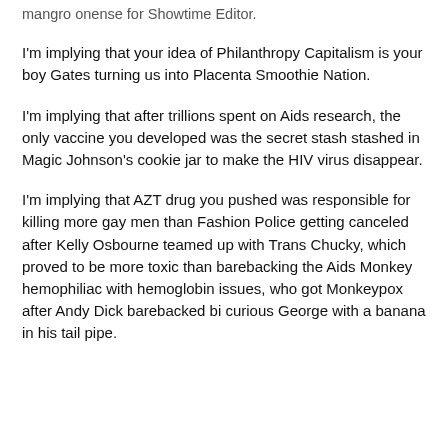mangro onense for Showtime Editor.
I'm implying that your idea of Philanthropy Capitalism is your boy Gates turning us into Placenta Smoothie Nation.
I'm implying that after trillions spent on Aids research, the only vaccine you developed was the secret stash stashed in Magic Johnson's cookie jar to make the HIV virus disappear.
I'm implying that AZT drug you pushed was responsible for killing more gay men than Fashion Police getting canceled after Kelly Osbourne teamed up with Trans Chucky, which proved to be more toxic than barebacking the Aids Monkey hemophiliac with hemoglobin issues, who got Monkeypox after Andy Dick barebacked bi curious George with a banana in his tail pipe.